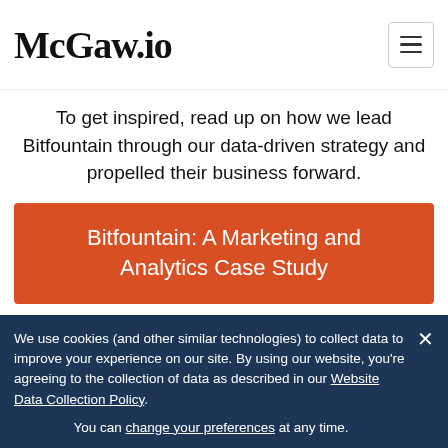McGaw.io
To get inspired, read up on how we lead Bitfountain through our data-driven strategy and propelled their business forward.
[Figure (other): Orange CTA button with text: Bitfountain: A Marketing and Analytics Case Study]
Reporting, Dashboards &
We use cookies (and other similar technologies) to collect data to improve your experience on our site. By using our website, you're agreeing to the collection of data as described in our Website Data Collection Policy.
You can change your preferences at any time.